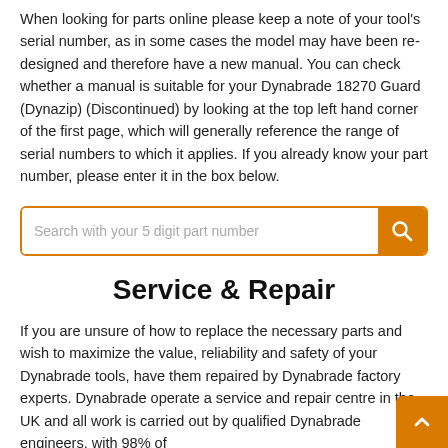When looking for parts online please keep a note of your tool's serial number, as in some cases the model may have been re-designed and therefore have a new manual. You can check whether a manual is suitable for your Dynabrade 18270 Guard (Dynazip) (Discontinued) by looking at the top left hand corner of the first page, which will generally reference the range of serial numbers to which it applies. If you already know your part number, please enter it in the box below.
[Figure (other): Search input box with orange border and orange search button icon, placeholder text: 'Search with your 5 digit part number']
Service & Repair
If you are unsure of how to replace the necessary parts and wish to maximize the value, reliability and safety of your Dynabrade tools, have them repaired by Dynabrade factory experts. Dynabrade operate a service and repair centre in the UK and all work is carried out by qualified Dynabrade engineers, with 98% of